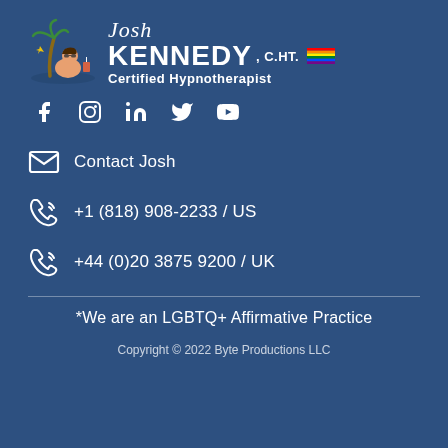[Figure (logo): Josh Kennedy C.HT. Certified Hypnotherapist logo with illustrated character under palm tree and pride flag]
[Figure (infographic): Social media icons: Facebook, Instagram, LinkedIn, Twitter, YouTube]
Contact Josh
+1 (818) 908-2233 / US
+44 (0)20 3875 9200 / UK
*We are an LGBTQ+ Affirmative Practice
Copyright © 2022 Byte Productions LLC